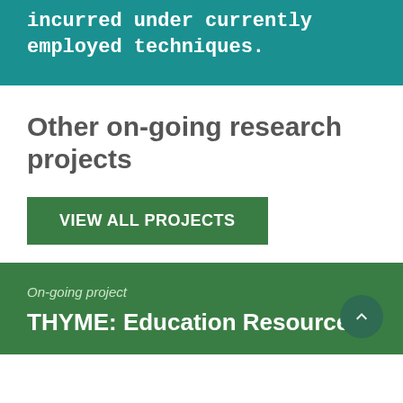incurred under currently employed techniques.
Other on-going research projects
VIEW ALL PROJECTS
On-going project
THYME: Education Resources